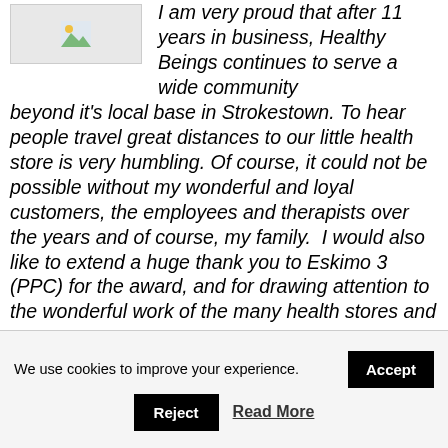[Figure (photo): Small image placeholder icon (landscape/photo icon) in upper left]
I am very proud that after 11 years in business, Healthy Beings continues to serve a wide community beyond it's local base in Strokestown. To hear people travel great distances to our little health store is very humbling. Of course, it could not be possible without my wonderful and loyal customers, the employees and therapists over the years and of course, my family. I would also like to extend a huge thank you to Eskimo 3 (PPC) for the award, and for drawing attention to the wonderful work of the many health stores and owners over
We use cookies to improve your experience.
Accept
Reject
Read More